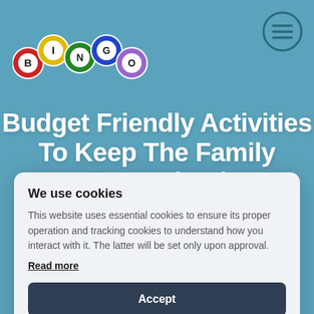[Figure (logo): BINGO logo made of colorful bingo balls spelling B-I-N-G-O]
[Figure (illustration): Hamburger menu icon in a teal circle, top right]
Budget Friendly Activities To Keep The Family Entertained
We use cookies
This website uses essential cookies to ensure its proper operation and tracking cookies to understand how you interact with it. The latter will be set only upon approval.
Read more
Accept
Settings